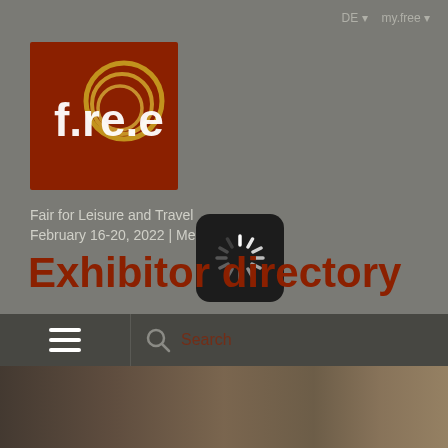DE ▾   my.free ▾
[Figure (logo): f.re.e fair logo — white stylized text 'f.re.e' on dark red/brown background with gold/yellow circular swirl design]
Fair for Leisure and Travel
February 16-20, 2022 | Messe M...
Exhibitor directory
[Figure (screenshot): Loading spinner icon — white radial loading animation on black rounded rectangle background]
[Figure (photo): Bottom strip showing a partial photo of what appears to be a travel/leisure scene with warm brown tones]